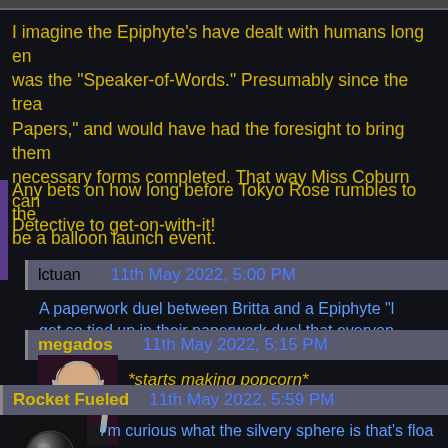I imagine the Epiphyte's have dealt with humans long enough to know who was the "Speaker-of-Words." Presumably since the trea Papers, and would have had the foresight to bring them necessary forms completed. That way Miss Coburn can Detective to get-on-with-it!
Any bets on how long before Tokyo Rose rumbles to the be a balloon launch event.
lctuan   11th May 2022, 5:00 PM
A paperwork duel between Britta and a Epiphyte "l get so tied up in their paperwork duel that everyon distracted.
megados   11th May 2022, 5:15 PM
*starts making popcorn*
[Figure (illustration): Avatar of megados user - illustrated portrait of person with long gray hair and glasses]
Rocket Fueled   11th May 2022, 5:59 PM
[Figure (illustration): Avatar of Rocket Fueled user - dark sphere/ball on dark background]
I'm curious what the silvery sphere is that's floa